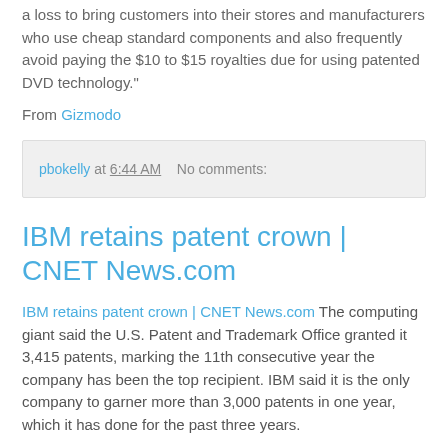a loss to bring customers into their stores and manufacturers who use cheap standard components and also frequently avoid paying the $10 to $15 royalties due for using patented DVD technology."
From Gizmodo
pbokelly at 6:44 AM    No comments:
IBM retains patent crown | CNET News.com
IBM retains patent crown | CNET News.com The computing giant said the U.S. Patent and Trademark Office granted it 3,415 patents, marking the 11th consecutive year the company has been the top recipient. IBM said it is the only company to garner more than 3,000 patents in one year, which it has done for the past three years.
...
Software-related patents for IBM are on the rise. Of all of Big